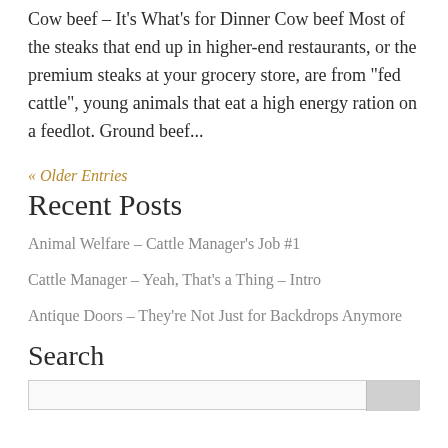Cow beef – It's What's for Dinner Cow beef Most of the steaks that end up in higher-end restaurants, or the premium steaks at your grocery store, are from “fed cattle”, young animals that eat a high energy ration on a feedlot. Ground beef...
« Older Entries
Recent Posts
Animal Welfare – Cattle Manager's Job #1
Cattle Manager – Yeah, That's a Thing – Intro
Antique Doors – They're Not Just for Backdrops Anymore
Search